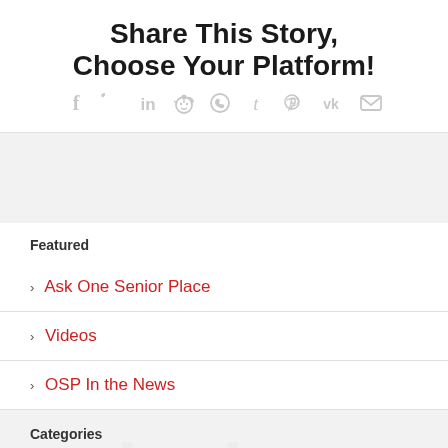Share This Story, Choose Your Platform!
[Figure (infographic): Social sharing icons: Facebook, Twitter, LinkedIn, Reddit, WhatsApp, Tumblr, Pinterest, VK, Email — all in light gray]
Featured
Ask One Senior Place
Videos
OSP In the News
Categories